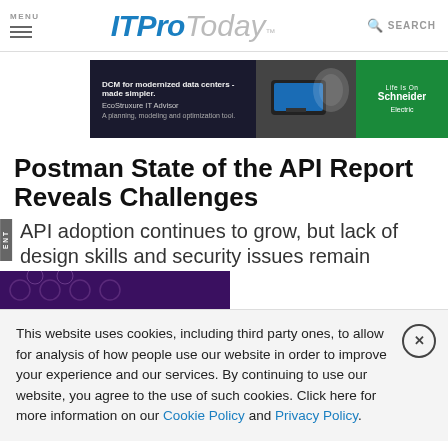MENU | ITProToday | SEARCH
[Figure (photo): Advertisement banner for EcoStruxure IT Advisor by Schneider Electric: 'DCM for modernized data centers - made simpler. EcoStruxure IT Advisor. A planning, modeling and optimization tool.']
Postman State of the API Report Reveals Challenges
API adoption continues to grow, but lack of design skills and security issues remain
This website uses cookies, including third party ones, to allow for analysis of how people use our website in order to improve your experience and our services. By continuing to use our website, you agree to the use of such cookies. Click here for more information on our Cookie Policy and Privacy Policy.